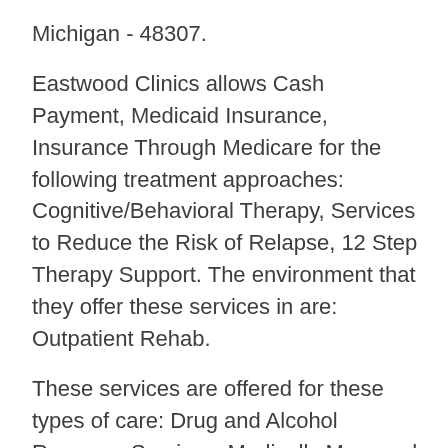Michigan - 48307.
Eastwood Clinics allows Cash Payment, Medicaid Insurance, Insurance Through Medicare for the following treatment approaches: Cognitive/Behavioral Therapy, Services to Reduce the Risk of Relapse, 12 Step Therapy Support. The environment that they offer these services in are: Outpatient Rehab.
These services are offered for these types of care: Drug and Alcohol Recovery Services, Medically Managed Detoxification. Eastwood Clinics also provides a number of special programs including: Continuing Care and Relapse Prevention, Substance Abuse